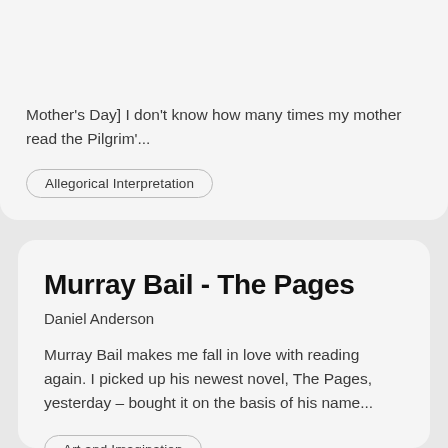Mother's Day] I don't know how many times my mother read the Pilgrim'...
Allegorical Interpretation
Murray Bail - The Pages
Daniel Anderson
Murray Bail makes me fall in love with reading again. I picked up his newest novel, The Pages, yesterday – bought it on the basis of his name...
Art and Imagination